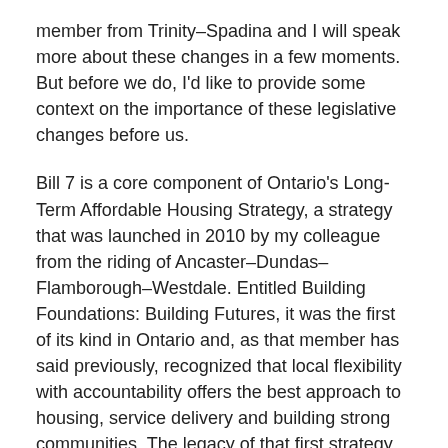member from Trinity–Spadina and I will speak more about these changes in a few moments. But before we do, I'd like to provide some context on the importance of these legislative changes before us.
Bill 7 is a core component of Ontario's Long-Term Affordable Housing Strategy, a strategy that was launched in 2010 by my colleague from the riding of Ancaster–Dundas–Flamborough–Westdale. Entitled Building Foundations: Building Futures, it was the first of its kind in Ontario and, as that member has said previously, recognized that local flexibility with accountability offers the best approach to housing, service delivery and building strong communities. The legacy of that first strategy, Mr. Speaker, is realized each and every day by those who have since embarked on an entirely new life trajectory because of the vision and practical solutions laid out in that strategy.
One of those solutions was consolidating five separate homelessness-related programs into a single flexible